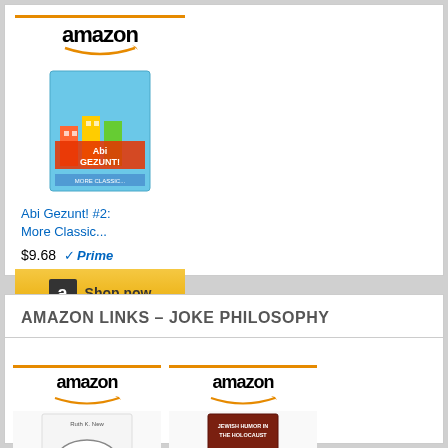[Figure (screenshot): Amazon affiliate ad widget showing book 'Abi Gezunt! #2: More Classic...' priced at $9.68 with Prime badge and Shop now button]
AMAZON LINKS – JOKE PHILOSOPHY
[Figure (screenshot): Amazon affiliate ad widget showing book 'No Joke' (partially visible)]
[Figure (screenshot): Amazon affiliate ad widget showing book 'Jewish Humor in the Holocaust' (partially visible)]